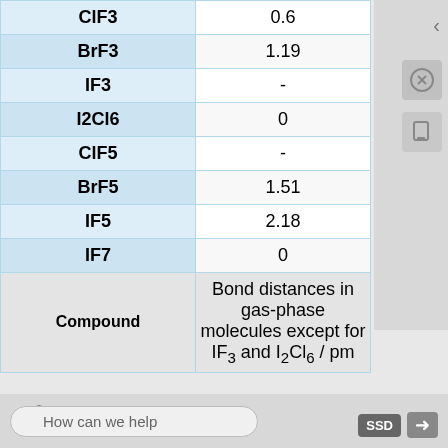| Compound | Bond distances in gas-phase molecules except for IF3 and I2Cl6 / pm |
| --- | --- |
| ClF3 | 0.6 |
| BrF3 | 1.19 |
| IF3 | - |
| I2Cl6 | 0 |
| ClF5 | - |
| BrF5 | 1.51 |
| IF5 | 2.18 |
| IF7 | 0 |